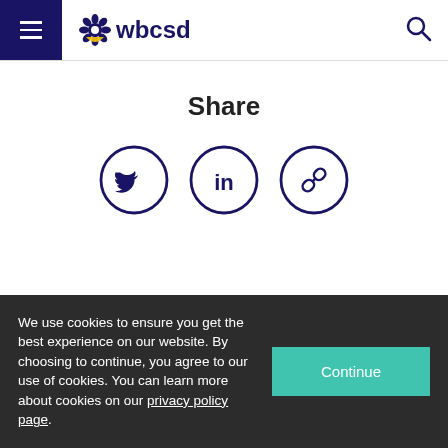WBCSD navigation header with hamburger menu, WBCSD logo, and search icon
Share
[Figure (illustration): Three circular icon buttons for sharing: Twitter bird icon, LinkedIn 'in' icon, and a chain/link icon, all outlined in dark navy blue]
We use cookies to ensure you get the best experience on our website. By choosing to continue, you agree to our use of cookies. You can learn more about cookies on our privacy policy page.